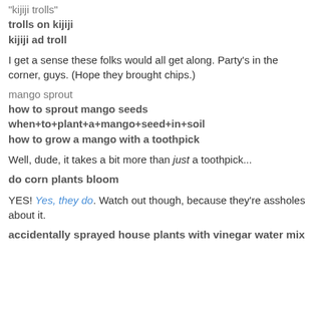"kijiji trolls"
trolls on kijiji
kijiji ad troll
I get a sense these folks would all get along. Party's in the corner, guys. (Hope they brought chips.)
mango sprout
how to sprout mango seeds
when+to+plant+a+mango+seed+in+soil
how to grow a mango with a toothpick
Well, dude, it takes a bit more than just a toothpick...
do corn plants bloom
YES! Yes, they do. Watch out though, because they're assholes about it.
accidentally sprayed house plants with vinegar water mix